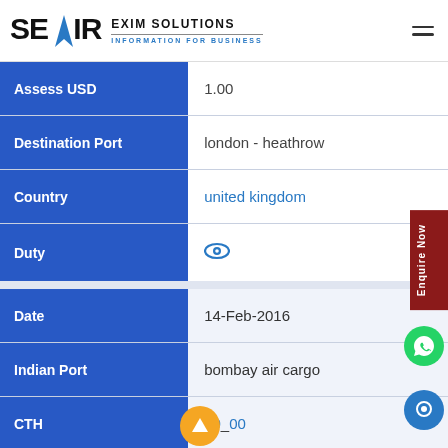[Figure (logo): SEAIR Exim Solutions logo with blue arrow/triangle, company name and tagline 'Information for Business']
| Field | Value |
| --- | --- |
| Assess USD | 1.00 |
| Destination Port | london - heathrow |
| Country | united kingdom |
| Duty | (eye icon) |
| Field | Value |
| --- | --- |
| Date | 14-Feb-2016 |
| Indian Port | bombay air cargo |
| CTH | 20_00 |